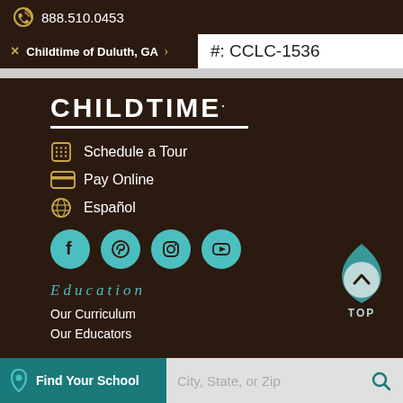888.510.0453
Childtime of Duluth, GA > #: CCLC-1536
[Figure (logo): Childtime logo in white bold text with underline]
Schedule a Tour
Pay Online
Español
[Figure (infographic): Social media icons: Facebook, Pinterest, Instagram, YouTube in teal circles]
Education
Our Curriculum
Our Educators
Find Your School  City, State, or Zip